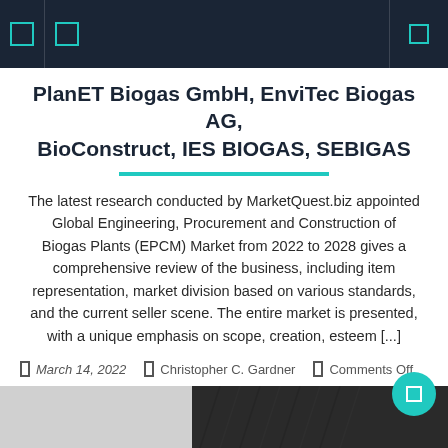navigation header with icons
PlanET Biogas GmbH, EnviTec Biogas AG, BioConstruct, IES BIOGAS, SEBIGAS
The latest research conducted by MarketQuest.biz appointed Global Engineering, Procurement and Construction of Biogas Plants (EPCM) Market from 2022 to 2028 gives a comprehensive review of the business, including item representation, market division based on various standards, and the current seller scene. The entire market is presented, with a unique emphasis on scope, creation, esteem [...]
March 14, 2022  Christopher C. Gardner  Comments Off
[Figure (photo): Bottom image strip showing partial view of a person in dark clothing on the right side]